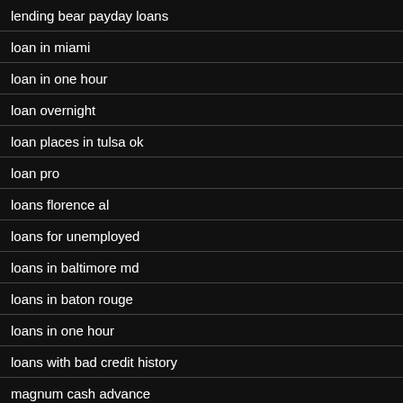lending bear payday loans
loan in miami
loan in one hour
loan overnight
loan places in tulsa ok
loan pro
loans florence al
loans for unemployed
loans in baltimore md
loans in baton rouge
loans in one hour
loans with bad credit history
magnum cash advance